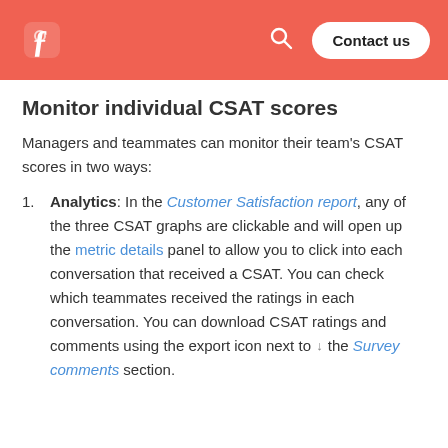Contact us
Monitor individual CSAT scores
Managers and teammates can monitor their team's CSAT scores in two ways:
Analytics: In the Customer Satisfaction report, any of the three CSAT graphs are clickable and will open up the metric details panel to allow you to click into each conversation that received a CSAT. You can check which teammates received the ratings in each conversation. You can download CSAT ratings and comments using the export icon next to the Survey comments section.